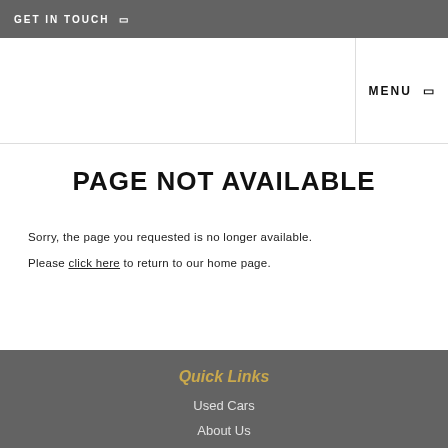GET IN TOUCH ▢
MENU ▢
PAGE NOT AVAILABLE
Sorry, the page you requested is no longer available.
Please click here to return to our home page.
Quick Links
Used Cars
About Us